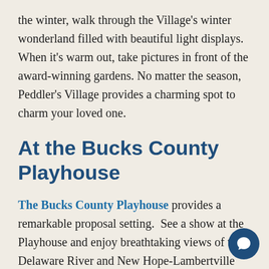the winter, walk through the Village's winter wonderland filled with beautiful light displays. When it's warm out, take pictures in front of the award-winning gardens. No matter the season, Peddler's Village provides a charming spot to charm your loved one.
At the Bucks County Playhouse
The Bucks County Playhouse provides a remarkable proposal setting.  See a show at the Playhouse and enjoy breathtaking views of the Delaware River and New Hope-Lambertville Bridge. New Hope is a small, fun